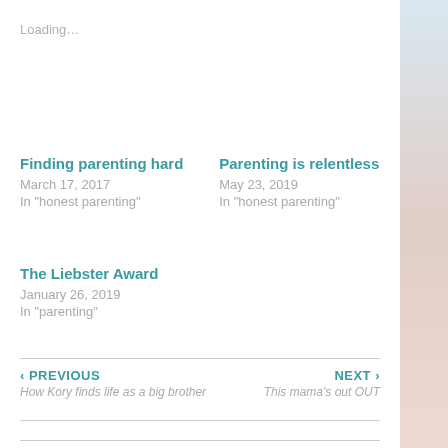Loading…
Finding parenting hard
March 17, 2017
In "honest parenting"
Parenting is relentless
May 23, 2019
In "honest parenting"
The Liebster Award
January 26, 2019
In "parenting"
‹ PREVIOUS
How Kory finds life as a big brother
NEXT ›
This mama's out OUT